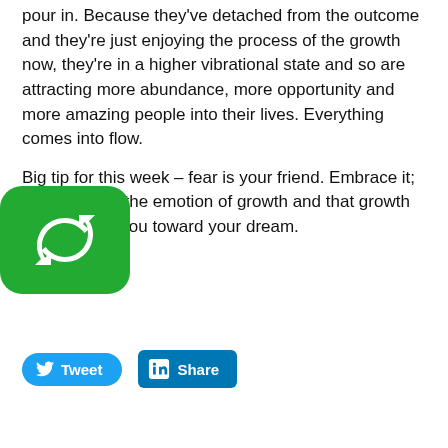pour in. Because they've detached from the outcome and they're just enjoying the process of the growth now, they're in a higher vibrational state and so are attracting more abundance, more opportunity and more amazing people into their lives. Everything comes into flow.
Big tip for this week – fear is your friend. Embrace it; know that it's the emotion of growth and that growth is just taking you toward your dream.
[Figure (logo): Green rounded square icon with a circular arrow/refresh symbol in white]
this has been helpful, and remember – live empowered and be inspired.
I'll see you next week!
[Figure (other): Tweet button (blue, rounded) and Share button (LinkedIn blue, square corners) social sharing buttons]